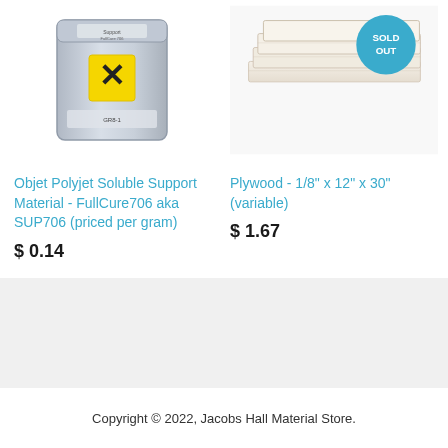[Figure (photo): Objet Polyjet Soluble Support Material metallic bag with hazard symbol label]
[Figure (photo): Stack of white plywood sheets with a teal SOLD OUT circular badge overlay]
Objet Polyjet Soluble Support Material - FullCure706 aka SUP706 (priced per gram)
$ 0.14
Plywood - 1/8" x 12" x 30" (variable)
$ 1.67
Copyright © 2022, Jacobs Hall Material Store.